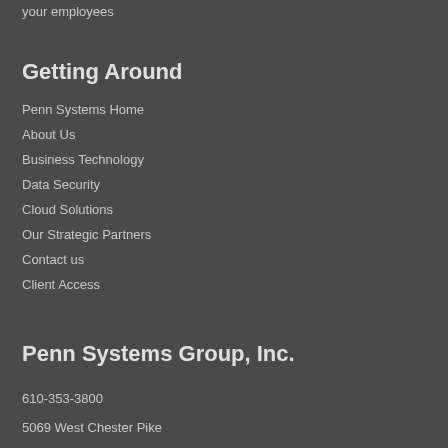your employees
Getting Around
Penn Systems Home
About Us
Business Technology
Data Security
Cloud Solutions
Our Strategic Partners
Contact us
Client Access
Penn Systems Group, Inc.
610-353-3800
5069 West Chester Pike